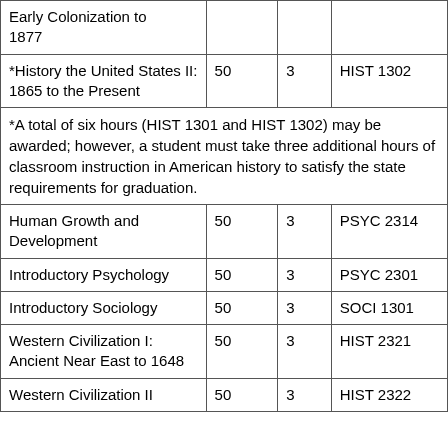| Early Colonization to 1877 |  |  |  |
| *History the United States II:
1865 to the Present | 50 | 3 | HIST 1302 |
| *A total of six hours (HIST 1301 and HIST 1302) may be awarded; however, a student must take three additional hours of classroom instruction in American history to satisfy the state requirements for graduation. |  |  |  |
| Human Growth and Development | 50 | 3 | PSYC 2314 |
| Introductory Psychology | 50 | 3 | PSYC 2301 |
| Introductory Sociology | 50 | 3 | SOCI 1301 |
| Western Civilization I: Ancient Near East to 1648 | 50 | 3 | HIST 2321 |
| Western Civilization II | 50 | 3 | HIST 2322 |